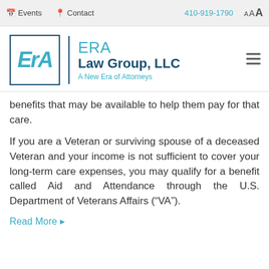Events  Contact  410-919-1790  A A A
[Figure (logo): ERA Law Group, LLC logo with ERA initials in a box, tagline: A New Era of Attorneys]
benefits that may be available to help them pay for that care.
If you are a Veteran or surviving spouse of a deceased Veteran and your income is not sufficient to cover your long-term care expenses, you may qualify for a benefit called Aid and Attendance through the U.S. Department of Veterans Affairs (“VA”).
Read More ▸